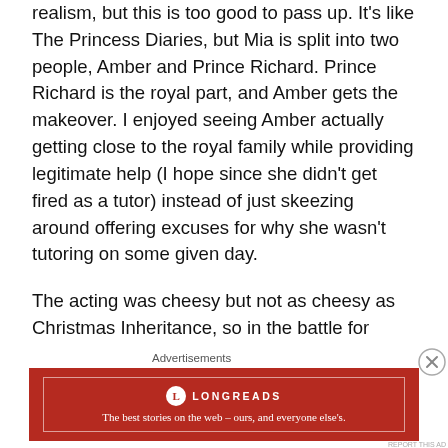realism, but this is too good to pass up. It's like The Princess Diaries, but Mia is split into two people, Amber and Prince Richard. Prince Richard is the royal part, and Amber gets the makeover. I enjoyed seeing Amber actually getting close to the royal family while providing legitimate help (I hope since she didn't get fired as a tutor) instead of just skeezing around offering excuses for why she wasn't tutoring on some given day.
The acting was cheesy but not as cheesy as Christmas Inheritance, so in the battle for which Netflix holiday movie is best, the winner is… A Christmas Prince
[Figure (other): Longreads advertisement banner: red background with Longreads logo and tagline 'The best stories on the web — ours, and everyone else's.']